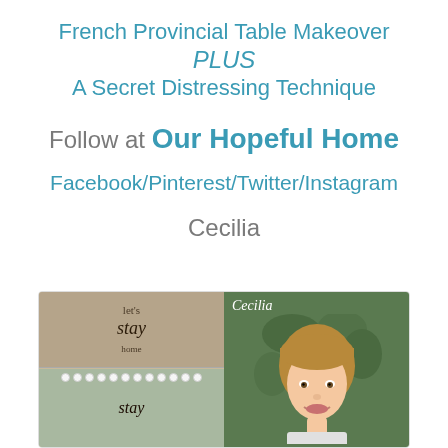French Provincial Table Makeover PLUS A Secret Distressing Technique
Follow at Our Hopeful Home
Facebook/Pinterest/Twitter/Instagram
Cecilia
[Figure (photo): Two framed signs with 'stay home' text on the left, and a portrait photo of Cecilia (woman with bangs, smiling) on the right with green foliage background]